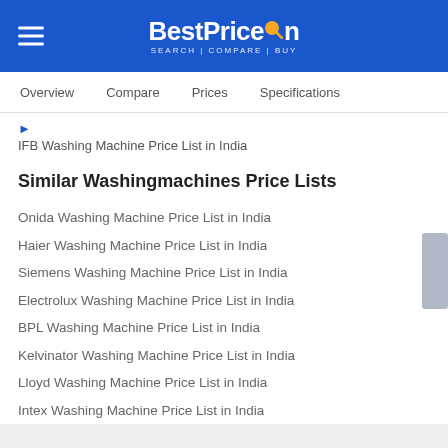BestPriceOn SEARCH | COMPARE | BUY
Overview  Compare  Prices  Specifications
IFB Washing Machine Price List in India
Similar Washingmachines Price Lists
Onida Washing Machine Price List in India
Haier Washing Machine Price List in India
Siemens Washing Machine Price List in India
Electrolux Washing Machine Price List in India
BPL Washing Machine Price List in India
Kelvinator Washing Machine Price List in India
Lloyd Washing Machine Price List in India
Intex Washing Machine Price List in India
Drop in your email and our pigeons will keep getting you alerts!